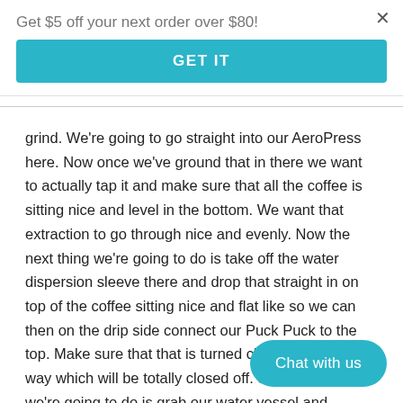Get $5 off your next order over $80!
GET IT
grind. We're going to go straight into our AeroPress here. Now once we've ground that in there we want to actually tap it and make sure that all the coffee is sitting nice and level in the bottom. We want that extraction to go through nice and evenly. Now the next thing we're going to do is take off the water dispersion sleeve there and drop that straight in on top of the coffee sitting nice and flat like so we can then on the drip side connect our Puck Puck to the top. Make sure that that is turned clockwise all the way which will be totally closed off. So, next thing we're going to do is grab our water vessel and connect that onto the top from Puck Puck.
The cool thing to note here is that we actua... he here which is 500 mil so 100 grams of ice and 400 grams of water
Chat with us